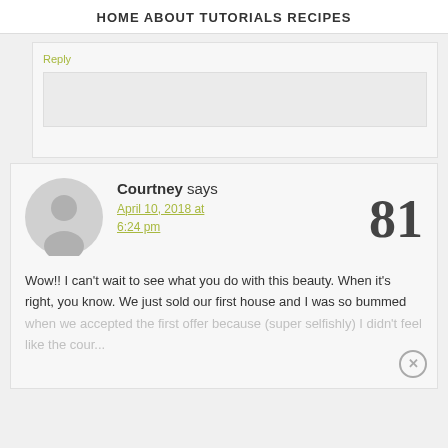HOME   ABOUT   TUTORIALS   RECIPES
Reply
Courtney says
April 10, 2018 at 6:24 pm
81
Wow!! I can't wait to see what you do with this beauty. When it's right, you know. We just sold our first house and I was so bummed when we accepted the first offer because (super selfishly) I didn't feel like the counter...